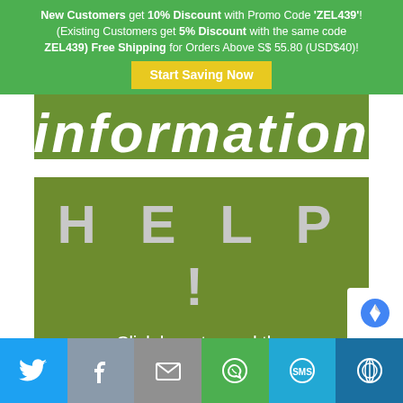New Customers get 10% Discount with Promo Code 'ZEL439'! (Existing Customers get 5% Discount with the same code ZEL439) Free Shipping for Orders Above S$ 55.80 (USD$40)!
Start Saving Now
[Figure (other): Partially visible banner with word 'information' in italic white text on olive-green background]
[Figure (other): Green box with large text 'HELP!' and subtitle 'Click here to read the Frequently Asked Questions']
Disclaimer
[Figure (other): Social share bar with Twitter, Facebook, Email, WhatsApp, SMS, and other share buttons]
[Figure (other): reCAPTCHA badge in bottom right corner]